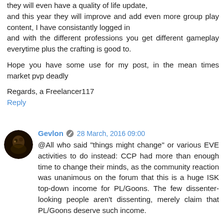they will even have a quality of life update, and this year they will improve and add even more group play content, I have consistantly logged in and with the different professions you get different gameplay everytime plus the crafting is good to.

Hope you have some use for my post, in the mean times market pvp deadly

Regards, a Freelancer117
Reply
Gevlon  28 March, 2016 09:00
@All who said "things might change" or various EVE activities to do instead: CCP had more than enough time to change their minds, as the community reaction was unanimous on the forum that this is a huge ISK top-down income for PL/Goons. The few dissenter-looking people aren't dissenting, merely claim that PL/Goons deserve such income.